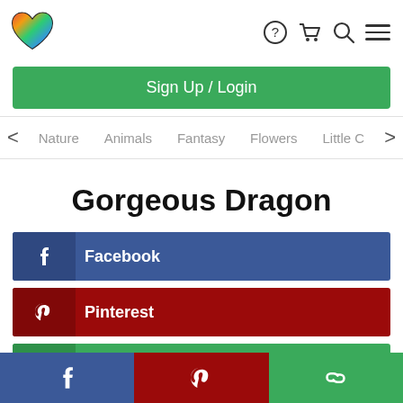[Figure (logo): Colorful heart-shaped logo]
Sign Up / Login
< Nature   Animals   Fantasy   Flowers   Little C >
Gorgeous Dragon
Facebook
Pinterest
Copy Link
Facebook | Pinterest | Copy Link (bottom bar icons)